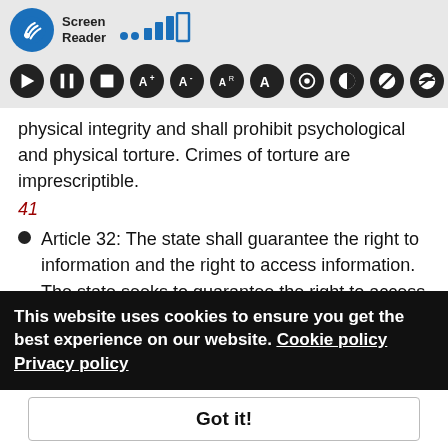[Figure (screenshot): Screen Reader toolbar with logo, signal bars, and accessibility control icons on grey background]
physical integrity and shall prohibit psychological and physical torture. Crimes of torture are imprescriptible. 41
Article 32: The state shall guarantee the right to information and the right to access information. The state seeks to guarantee the right to access to communication. 42
Article 38: Health is a right for every person. The state shall ensure free health care for those without support and those with limited income. It shall
This website uses cookies to ensure you get the best experience on our website. Cookie policy Privacy policy
Got it!